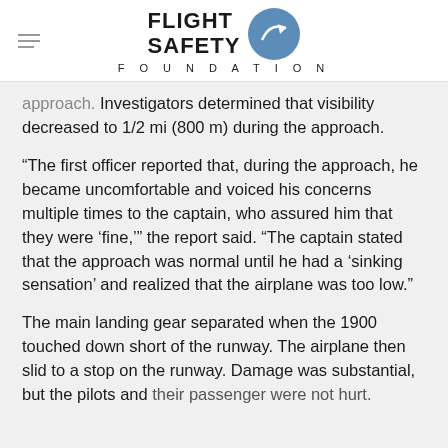FLIGHT SAFETY FOUNDATION
approach. Investigators determined that visibility decreased to 1/2 mi (800 m) during the approach.
“The first officer reported that, during the approach, he became uncomfortable and voiced his concerns multiple times to the captain, who assured him that they were ‘fine,’” the report said. “The captain stated that the approach was normal until he had a ‘sinking sensation’ and realized that the airplane was too low.”
The main landing gear separated when the 1900 touched down short of the runway. The airplane then slid to a stop on the runway. Damage was substantial, but the pilots and their passenger were not hurt.